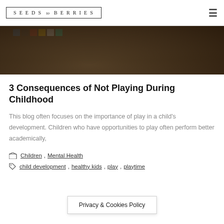SEEDS to BERRIES
[Figure (photo): Close-up photo of a child's hand on a brown fuzzy surface with colorful building blocks (blue, red, yellow, teal) at the top]
3 Consequences of Not Playing During Childhood
This blog often focuses on the importance of play in a child's development. Children who have opportunities to play often perform better academically,
Children, Mental Health
child development, healthy kids, play, playtime
Privacy & Cookies Policy